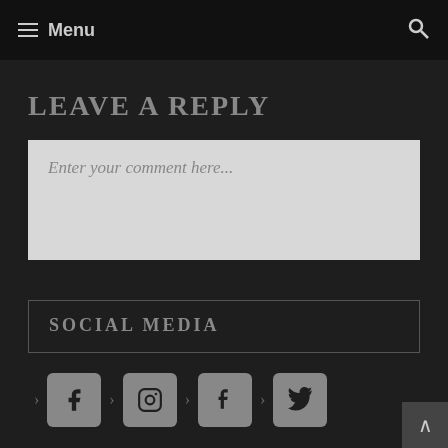Menu
LEAVE A REPLY
Enter your comment here...
SOCIAL MEDIA
[Figure (infographic): Row of social media icons: Facebook, Instagram, Tumblr, Twitter, each in a rounded grey square with chevron arrows between them]